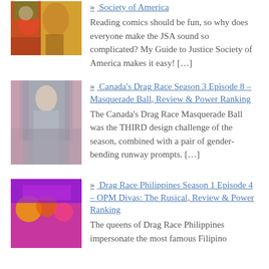[Figure (photo): Colorful comic book superhero characters including figures in orange and gold costumes]
» Society of America
Reading comics should be fun, so why does everyone make the JSA sound so complicated? My Guide to Justice Society of America makes it easy! […]
[Figure (photo): A drag performer in a silver-grey long gown standing in front of a patterned backdrop]
» Canada's Drag Race Season 3 Episode 8 – Masquerade Ball, Review & Power Ranking
The Canada's Drag Race Masquerade Ball was the THIRD design challenge of the season, combined with a pair of gender-bending runway prompts. […]
[Figure (photo): Colorfully dressed drag performers on a bright purple and pink stage for Drag Race Philippines]
» Drag Race Philippines Season 1 Episode 4 – OPM Divas: The Rusical, Review & Power Ranking
The queens of Drag Race Philippines impersonate the most famous Filipino